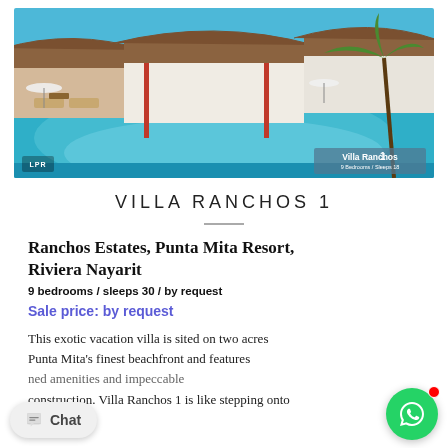[Figure (photo): Aerial/ground-level view of Villa Ranchos 1 showing a large infinity pool, thatched palapa structures, white villa buildings, lounge chairs and dining area, palm trees, under a blue sky. LPR badge at bottom-left and Villa Ranchos 1 watermark badge at bottom-right.]
VILLA RANCHOS 1
Ranchos Estates, Punta Mita Resort, Riviera Nayarit
9 bedrooms / sleeps 30 / by request
Sale price: by request
This exotic vacation villa is sited on two acres Punta Mita's finest beachfront and features ned amenities and impeccable construction. Villa Ranchos 1 is like stepping onto